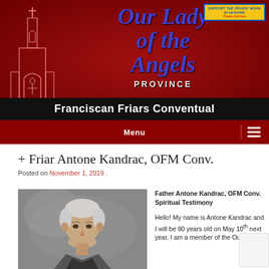[Figure (logo): Our Lady of the Angels Province – Franciscan Friars Conventual website header with church icon and text on dark red background]
Menu
+ Friar Antone Kandrac, OFM Conv.
Posted on November 1, 2019 .
[Figure (photo): Black and white portrait photo of an elderly man with white/gray hair]
Father Antone Kandrac, OFM Conv. Spiritual Testimony

Hello! My name is Antone Kandrac and I will be 90 years old on May 10th next year. I am a member of the Our